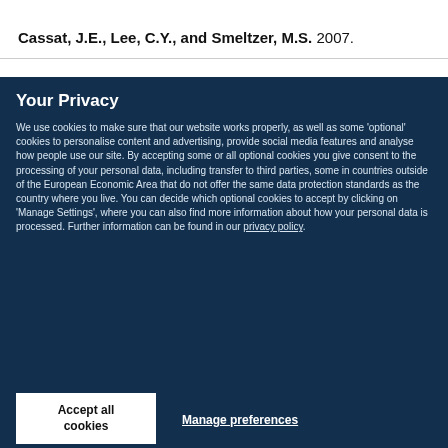Cassat, J.E., Lee, C.Y., and Smeltzer, M.S. 2007.
Your Privacy
We use cookies to make sure that our website works properly, as well as some ‘optional’ cookies to personalise content and advertising, provide social media features and analyse how people use our site. By accepting some or all optional cookies you give consent to the processing of your personal data, including transfer to third parties, some in countries outside of the European Economic Area that do not offer the same data protection standards as the country where you live. You can decide which optional cookies to accept by clicking on ‘Manage Settings’, where you can also find more information about how your personal data is processed. Further information can be found in our privacy policy.
Accept all cookies
Manage preferences